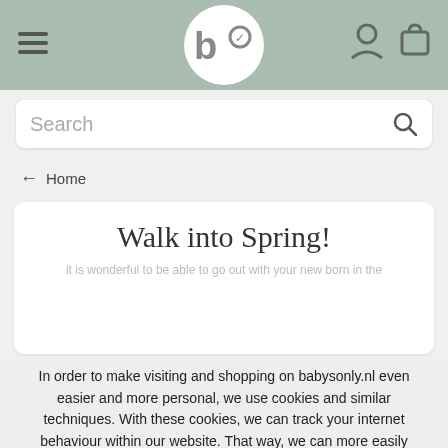babysonly.nl header with hamburger menu, logo, account and cart icons
Search
← Home
Walk into Spring!
In order to make visiting and shopping on babysonly.nl even easier and more personal, we use cookies and similar techniques. With these cookies, we can track your internet behaviour within our website. That way, we can more easily show advertisements which correspond with your interests and you can share information through social media. By entering our website, you agree to our use of cookies. Would you like to know more? View our cookie policy. Close